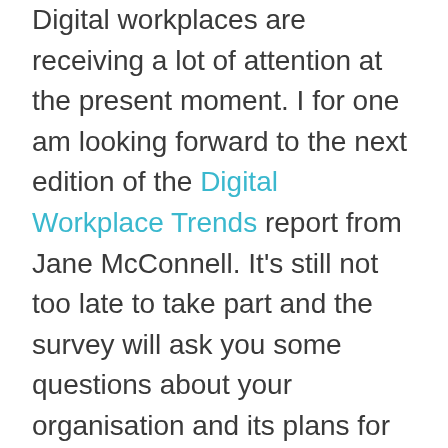Digital workplaces are receiving a lot of attention at the present moment. I for one am looking forward to the next edition of the Digital Workplace Trends report from Jane McConnell. It's still not too late to take part and the survey will ask you some questions about your organisation and its plans for which you may not yet have good answers. A while back I mentioned in a blog post that I had seven important questions that I felt that organisations should be able to answer if they...